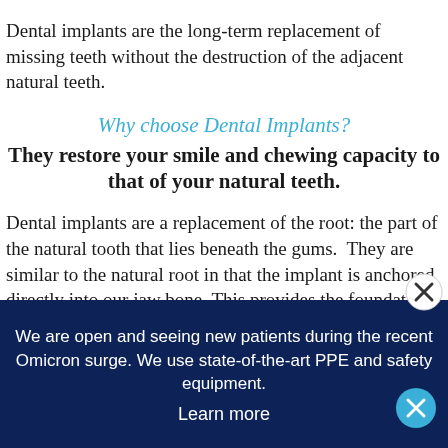Dental implants are the long-term replacement of missing teeth without the destruction of the adjacent natural teeth.
Why choose Dental Implants?
They restore your smile and chewing capacity to that of your natural teeth.
Dental implants are a replacement of the root: the part of the natural tooth that lies beneath the gums.  They are similar to the natural root in that the implant is anchored directly into our jaw bone. This provides the foundation to attach a natural-looking ceramic
We are open and seeing new patients during the recent Omicron surge. We use state-of-the-art PPE and safety equipment.
Learn more